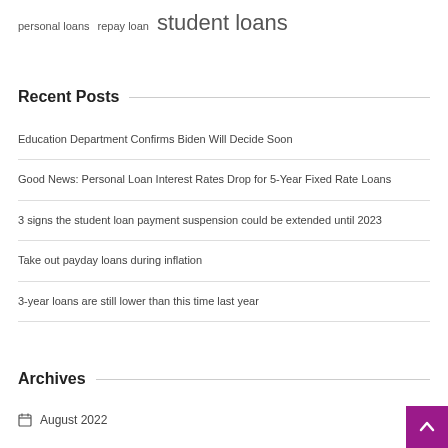personal loans  repay loan  student loans
Recent Posts
Education Department Confirms Biden Will Decide Soon
Good News: Personal Loan Interest Rates Drop for 5-Year Fixed Rate Loans
3 signs the student loan payment suspension could be extended until 2023
Take out payday loans during inflation
3-year loans are still lower than this time last year
Archives
August 2022